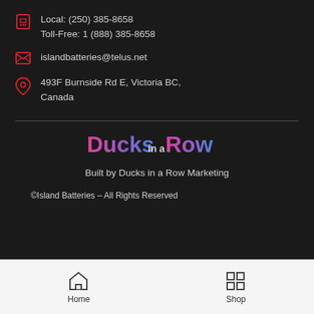Local: (250) 385-8658
Toll-Free: 1 (888) 385-8658
islandbatteries@telus.net
493F Burnside Rd E, Victoria BC, Canada
[Figure (logo): Ducks in a Row logo with pink and purple gradient text]
Built by Ducks in a Row Marketing
©Island Batteries – All Rights Reserved
Home  Shop